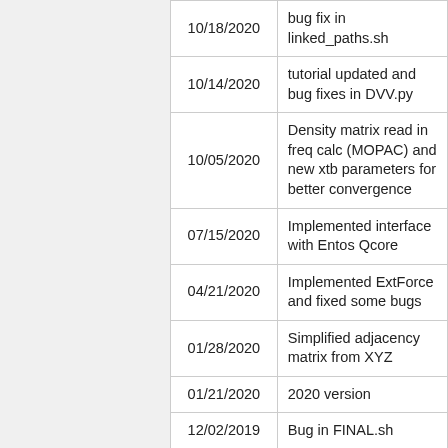| Date | Description |
| --- | --- |
| 10/18/2020 | bug fix in linked_paths.sh |
| 10/14/2020 | tutorial updated and bug fixes in DVV.py |
| 10/05/2020 | Density matrix read in freq calc (MOPAC) and new xtb parameters for better convergence |
| 07/15/2020 | Implemented interface with Entos Qcore |
| 04/21/2020 | Implemented ExtForce and fixed some bugs |
| 01/28/2020 | Simplified adjacency matrix from XYZ |
| 01/21/2020 | 2020 version |
| 12/02/2019 | Bug in FINAL.sh |
| 11/22/2019 | Maximum number of paths set to 50 (in bbfs.f90). |